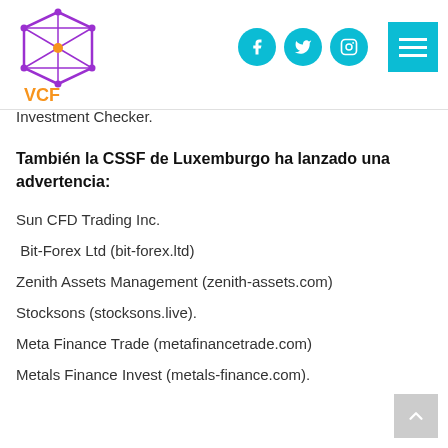VCF header with logo and social icons
Investment Checker.
También la CSSF de Luxemburgo ha lanzado una advertencia:
Sun CFD Trading Inc.
Bit-Forex Ltd (bit-forex.ltd)
Zenith Assets Management (zenith-assets.com)
Stocksons (stocksons.live).
Meta Finance Trade (metafinancetrade.com)
Metals Finance Invest (metals-finance.com).